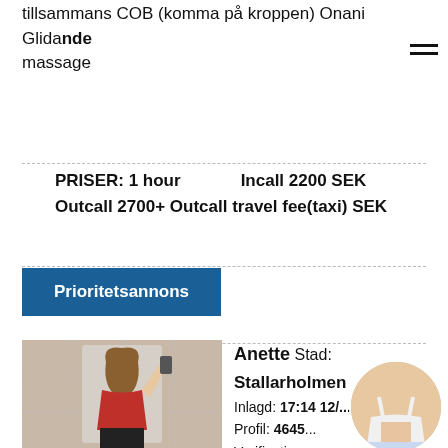tillsammans COB (komma på kroppen) Onani Glidande massage
PRISER: 1 hour   Incall 2200 SEK   Outcall 2700+ Outcall travel fee(taxi) SEK
Prioritetsannons
[Figure (photo): Woman in red top taking mirror selfie]
Anette Stad: Stallarholmen Inlagd: 17:14 12/...2020 Profil: 4645... Verification photos Inc... Incall & Out... Info
[Figure (photo): Circular thumbnail photo overlay]